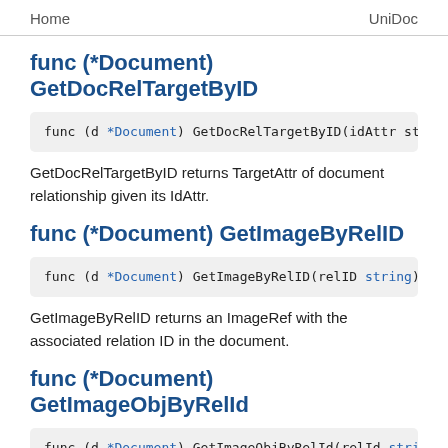Home    UniDoc
func (*Document) GetDocRelTargetByID
func (d *Document) GetDocRelTargetByID(idAttr st
GetDocRelTargetByID returns TargetAttr of document relationship given its IdAttr.
func (*Document) GetImageByRelID
func (d *Document) GetImageByRelID(relID string)
GetImageByRelID returns an ImageRef with the associated relation ID in the document.
func (*Document) GetImageObjByRelId
func (d *Document) GetImageObjByRelId(relId stri